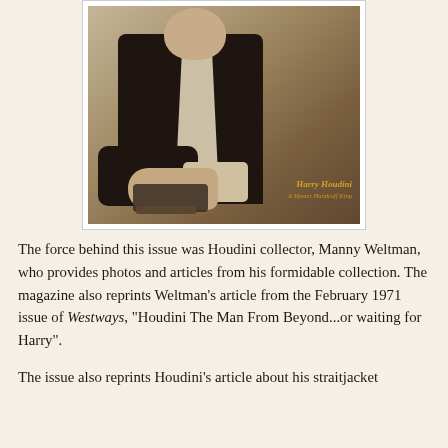[Figure (photo): Sepia-toned vintage photograph of Harry Houdini holding chains in his hands, wearing a dark suit. The photo has a handwritten label in orange/gold text reading 'Harry Houdini' with a subtitle line below it.]
The force behind this issue was Houdini collector, Manny Weltman, who provides photos and articles from his formidable collection. The magazine also reprints Weltman's article from the February 1971 issue of Westways, "Houdini The Man From Beyond...or waiting for Harry".
The issue also reprints Houdini's article about his straitjacket